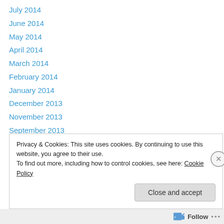July 2014
June 2014
May 2014
April 2014
March 2014
February 2014
January 2014
December 2013
November 2013
September 2013
August 2013
July 2013
June 2013
Privacy & Cookies: This site uses cookies. By continuing to use this website, you agree to their use.
To find out more, including how to control cookies, see here: Cookie Policy
Close and accept
Follow ...